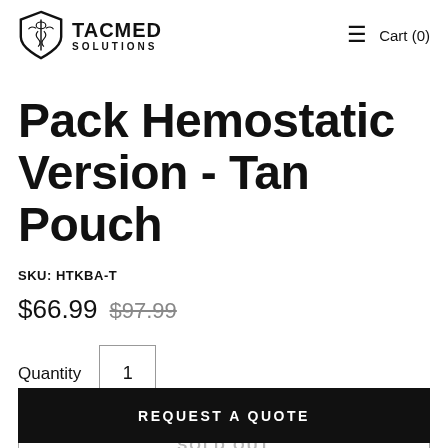TACMED SOLUTIONS | Cart (0)
Pack Hemostatic Version - Tan Pouch
SKU: HTKBA-T
$66.99  $97.99
Quantity  1
SOLD OUT
REQUEST A QUOTE